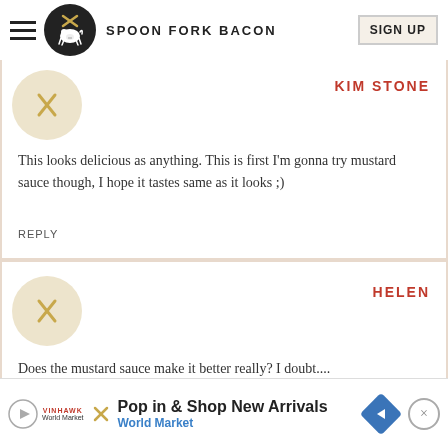SPOON FORK BACON
KIM STONE
This looks delicious as anything. This is first I'm gonna try mustard sauce though, I hope it tastes same as it looks ;)
REPLY
HELEN
Does the mustard sauce make it better really? I doubt....
REPLY
Pop in & Shop New Arrivals World Market